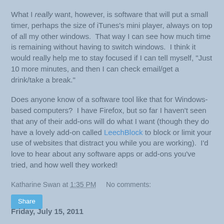What I really want, however, is software that will put a small timer, perhaps the size of iTunes's mini player, always on top of all my other windows.  That way I can see how much time is remaining without having to switch windows.  I think it would really help me to stay focused if I can tell myself, "Just 10 more minutes, and then I can check email/get a drink/take a break."
Does anyone know of a software tool like that for Windows-based computers?  I have Firefox, but so far I haven't seen that any of their add-ons will do what I want (though they do have a lovely add-on called LeechBlock to block or limit your use of websites that distract you while you are working).  I'd love to hear about any software apps or add-ons you've tried, and how well they worked!
Katharine Swan at 1:35 PM    No comments:
Share
Friday, July 15, 2011